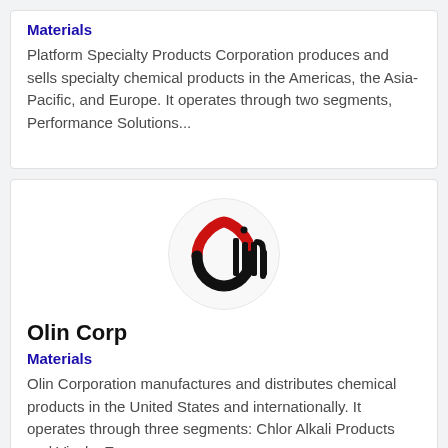Materials
Platform Specialty Products Corporation produces and sells specialty chemical products in the Americas, the Asia-Pacific, and Europe. It operates through two segments, Performance Solutions...
[Figure (logo): Olin Corp logo — stylized letter O with red arc on top and black arc on bottom, followed by 'lin' in black serif text]
Olin Corp
Materials
Olin Corporation manufactures and distributes chemical products in the United States and internationally. It operates through three segments: Chlor Alkali Products and Vinyls; Epoxy;...